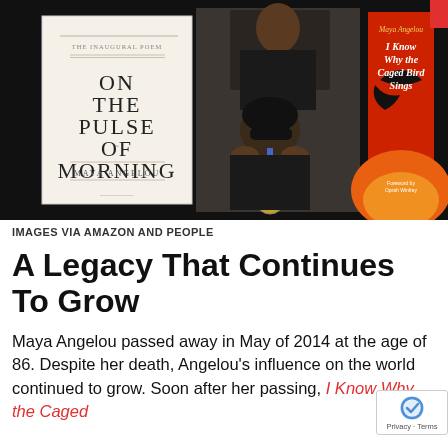[Figure (photo): Collage of three images: book cover of 'On the Pulse of Morning' by Maya Angelou, a photo of Maya Angelou receiving a medal from President Obama, and book cover of 'I Know Why the Caged Bird Sings' by Maya Angelou]
IMAGES VIA AMAZON AND PEOPLE
A Legacy That Continues To Grow
Maya Angelou passed away in May of 2014 at the age of 86. Despite her death, Angelou's influence on the world continued to grow. Soon after her passing, I Know Why the Caged